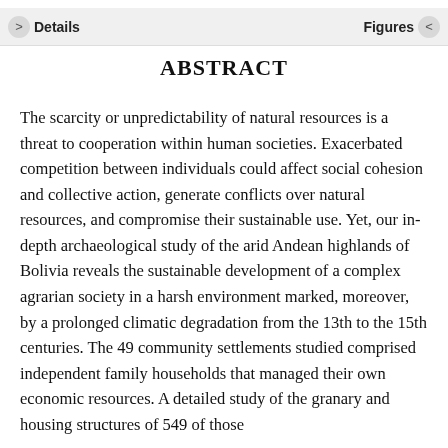> Details   Figures <
ABSTRACT
The scarcity or unpredictability of natural resources is a threat to cooperation within human societies. Exacerbated competition between individuals could affect social cohesion and collective action, generate conflicts over natural resources, and compromise their sustainable use. Yet, our in-depth archaeological study of the arid Andean highlands of Bolivia reveals the sustainable development of a complex agrarian society in a harsh environment marked, moreover, by a prolonged climatic degradation from the 13th to the 15th centuries. The 49 community settlements studied comprised independent family households that managed their own economic resources. A detailed study of the granary and housing structures of 549 of those